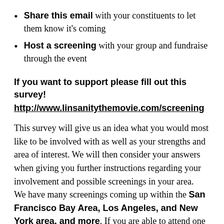Share this email with your constituents to let them know it's coming
Host a screening with your group and fundraise through the event
If you want to support please fill out this survey!
http://www.linsanitythemovie.com/screening
This survey will give us an idea what you would most like to be involved with as well as your strengths and area of interest. We will then consider your answers when giving you further instructions regarding your involvement and possible screenings in your area.
We have many screenings coming up within the San Francisco Bay Area, Los Angeles, and New York area, and more. If you are able to attend one of the screenings, we would be more than ecstatic to see you there! If not, we can suggest other ways of seeing the